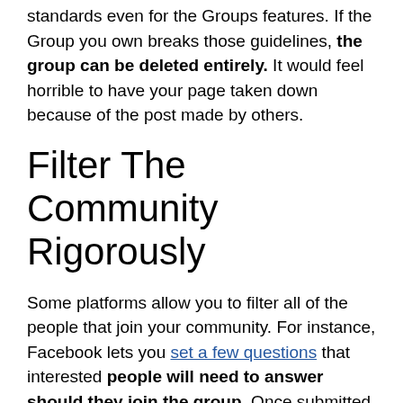standards even for the Groups features. If the Group you own breaks those guidelines, the group can be deleted entirely. It would feel horrible to have your page taken down because of the post made by others.
Filter The Community Rigorously
Some platforms allow you to filter all of the people that join your community. For instance, Facebook lets you set a few questions that interested people will need to answer should they join the group. Once submitted, you can check out their answers and it's going to be up to you whether or not they are allowed to join.
It may seem bothersome on your end to set up